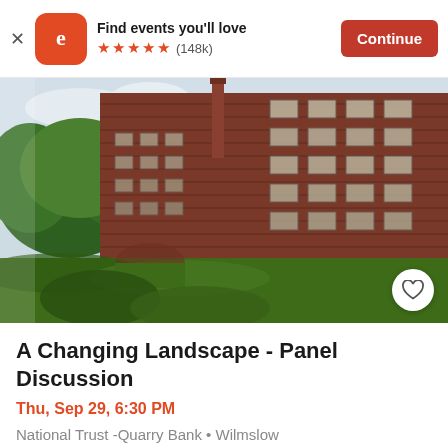Find events you'll love  ★★★★★ (148k)  Continue
[Figure (photo): Photograph of a large multi-storey Victorian red brick mill building (Quarry Bank Mill) with a tall chimney, set against a lush green tree backdrop and grassy foreground, with cloudy sky.]
A Changing Landscape - Panel Discussion
Thu, Sep 29, 6:30 PM
National Trust -Quarry Bank • Wilmslow
Free